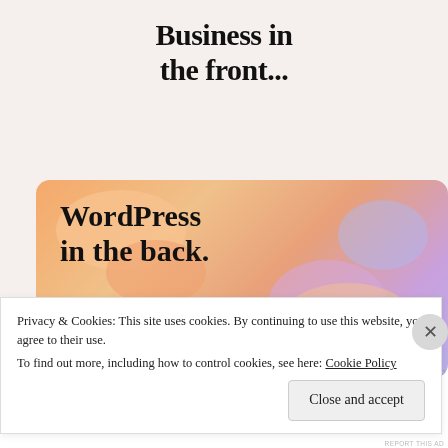Business in the front...
[Figure (illustration): WordPress VIP advertisement banner with colorful gradient blobs background. Text reads 'WordPress in the back.' with WordPress VIP logo and 'Learn more →' button.]
REPORT THIS AD
I personally use WordPress with the premium theme, which
Privacy & Cookies: This site uses cookies. By continuing to use this website, you agree to their use.
To find out more, including how to control cookies, see here: Cookie Policy
Close and accept